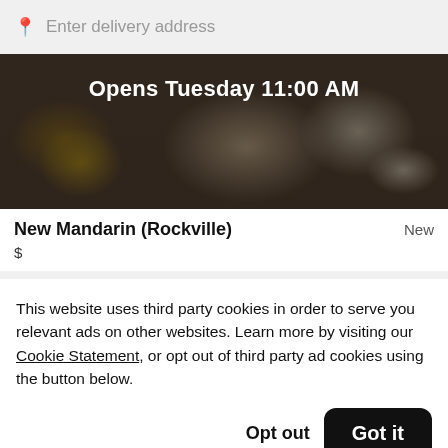Enter delivery address
[Figure (photo): Dark restaurant hero image showing dim sum dishes with overlay text 'Opens Tuesday 11:00 AM']
New Mandarin (Rockville)
$
This website uses third party cookies in order to serve you relevant ads on other websites. Learn more by visiting our Cookie Statement, or opt out of third party ad cookies using the button below.
Opt out  Got it